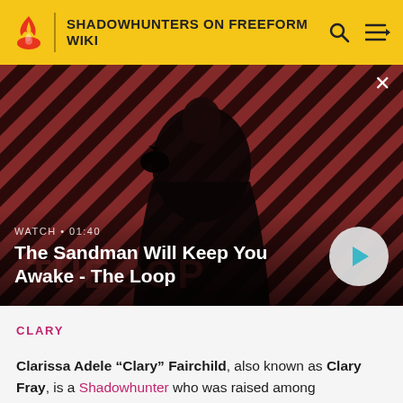SHADOWHUNTERS ON FREEFORM WIKI
[Figure (screenshot): Video thumbnail showing a dark-cloaked figure with a raven on their shoulder against a red and black striped background. The video is titled 'The Sandman Will Keep You Awake - The Loop' with duration 01:40 and a play button overlay.]
CLARY
Clarissa Adele "Clary" Fairchild, also known as Clary Fray, is a Shadowhunter who was raised among